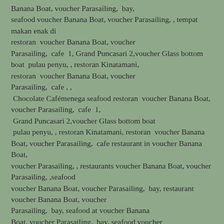Banana Boat, voucher Parasailing,  bay, seafood voucher Banana Boat, voucher Parasailing, , tempat makan enak di restoran  voucher Banana Boat, voucher Parasailing,  cafe  1, Grand Puncasari 2,voucher Glass bottom boat  pulau penyu, , restoran Kinatamani, restoran  voucher Banana Boat, voucher Parasailing,  cafe , ,  Chocolate Cafémenega seafood restoran  voucher Banana Boat, voucher Parasailing,  cafe  1,  Grand Puncasari 2,voucher Glass bottom boat  pulau penyu, , restoran Kinatamani, restoran  voucher Banana Boat, voucher Parasailing,  cafe restaurant in voucher Banana Boat,  voucher Parasailing, , restaurants voucher Banana Boat, voucher Parasailing, ,seafood voucher Banana Boat, voucher Parasailing,  bay, restaurant voucher Banana Boat, voucher Parasailing,  bay, seafood at voucher Banana Boat, voucher Parasailing,  bay, seafood voucher Banana Boat, voucher Parasailing, , seafood voucher Banana Boat, voucher Parasailing, , marlin restoran, Restoran  voucher Banana Boat, voucher Parasailing,  cafe  1,  Grand Puncasari 2,voucher Glass bottom boat